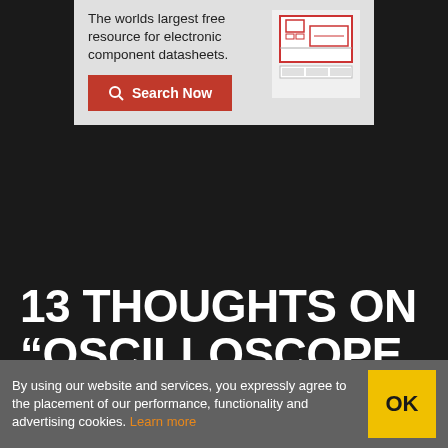[Figure (screenshot): Advertisement banner for electronic component datasheets website with a search button and datasheet image]
The worlds largest free resource for electronic component datasheets.
Search Now
13 THOUGHTS ON “OSCILLOSCOPE AND MICROSCOPE AUGMENTED WITH
By using our website and services, you expressly agree to the placement of our performance, functionality and advertising cookies. Learn more
OK